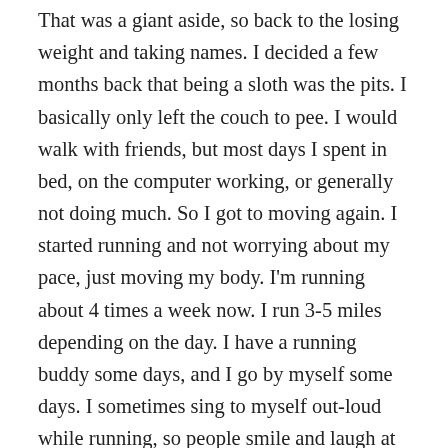That was a giant aside, so back to the losing weight and taking names. I decided a few months back that being a sloth was the pits. I basically only left the couch to pee. I would walk with friends, but most days I spent in bed, on the computer working, or generally not doing much. So I got to moving again. I started running and not worrying about my pace, just moving my body. I'm running about 4 times a week now. I run 3-5 miles depending on the day. I have a running buddy some days, and I go by myself some days. I sometimes sing to myself out-loud while running, so people smile and laugh at me. Good times. I really love this time of year when it's cool in the morning, and spring is coming, and it's warmer in the afternoon. I love exploring the neighborhoods near me by foot. I forgot how much running meant to me and how good it was for my mental health. When I start doing it, I start feeling happier. I'm a better parent, better wife, and generally a better and happier person. And I don't even go